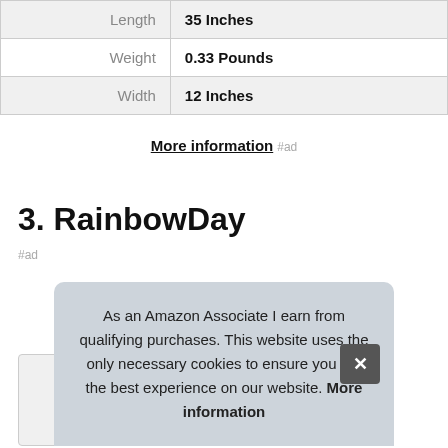|  |  |
| --- | --- |
| Length | 35 Inches |
| Weight | 0.33 Pounds |
| Width | 12 Inches |
More information #ad
3. RainbowDay
#ad
As an Amazon Associate I earn from qualifying purchases. This website uses the only necessary cookies to ensure you get the best experience on our website. More information